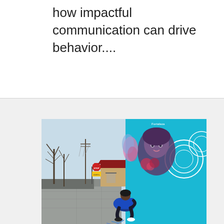how impactful communication can drive behavior....
[Figure (photo): A person in a blue hoodie crouching on a sidewalk in front of a colorful street mural featuring a woman's face, with a stop sign and bare trees visible in the background.]